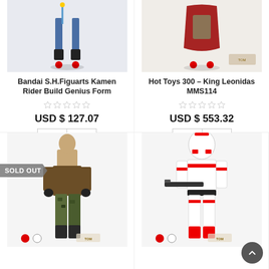[Figure (photo): Bandai S.H.Figuarts Kamen Rider Build Genius Form action figure, lower legs visible]
Bandai S.H.Figuarts Kamen Rider Build Genius Form
USD $ 127.07
[Figure (photo): Hot Toys 300 King Leonidas MMS114 action figure with red cape]
Hot Toys 300 – King Leonidas MMS114
USD $ 553.32
[Figure (photo): Sold out military action figure in camouflage pants and brown vest]
[Figure (photo): Red and white Stormtrooper action figure holding a weapon]